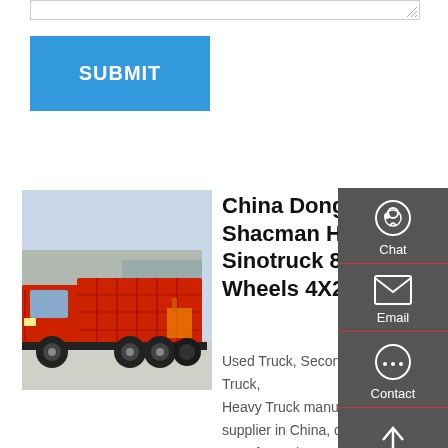[Figure (screenshot): Textarea input stub at top of page]
SUBMIT
[Figure (photo): Red dump truck (Dongfeng/Shacman/HOWO/Sinotruck) parked in industrial area]
China Dongfeng Shacman HOWO Sinotruck 8/10/12 Wheels 4X2 6
Used Truck, Second Hand Truck, Heavy Truck manufacturer / supplier in China, offering China Dongfeng Shacman HOWO Sinotruck 8/10/12 Wheels 4X2